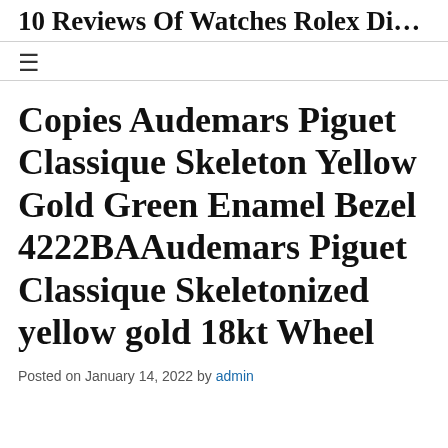10 Reviews Of Watches Rolex Di…
Copies Audemars Piguet Classique Skeleton Yellow Gold Green Enamel Bezel 4222BAAudemars Piguet Classique Skeletonized yellow gold 18kt Wheel
Posted on January 14, 2022 by admin